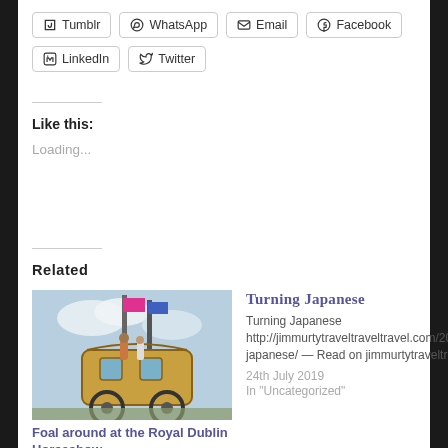[Figure (screenshot): Social share buttons: Tumblr, WhatsApp, Email, Facebook, LinkedIn, Twitter]
Like this:
Loading...
Related
[Figure (photo): Photo of a horse-drawn golden carriage at a horse show event with crowds and flags in background]
Foal around at the Royal Dublin Horseshow
14th August 2022
In "Countries"
Turning Japanese
Turning Japanese http://jimmurtytraveltraveltravel.com/2019/07/24/turning-japanese/ — Read on jimmurtytraveltraveltravel.co
24th July 2019
In "Uncategorized"